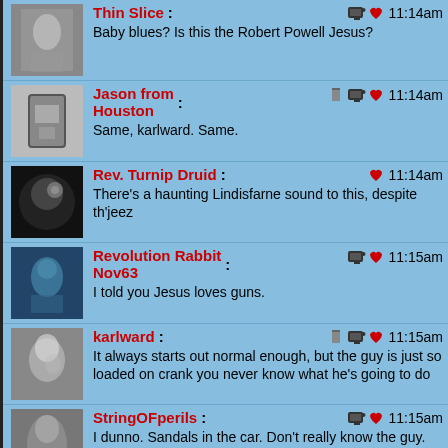Thin Slice: 11:14am — Baby blues? Is this the Robert Powell Jesus?
Jason from Houston: 11:14am — Same, karlward. Same.
Rev. Turnip Druid: 11:14am — There's a haunting Lindisfarne sound to this, despite th'jeez
Revolution Rabbit Nov63: 11:15am — I told you Jesus loves guns.
karlward: 11:15am — It always starts out normal enough, but the guy is just so loaded on crank you never know what he's going to do
StringOFperils: 11:15am — I dunno. Sandals in the car. Don't really know the guy. I'd keep driving.
Handy Haversack: 11:15am — "Jesus love marijuana ... and drinking human blood!"